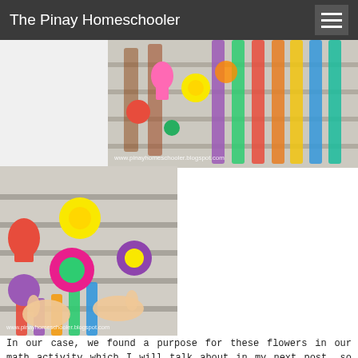The Pinay Homeschooler
[Figure (photo): Top right photo: colorful foam flower shapes and colored popsicle/craft sticks arranged on a striped surface, with watermark www.pinayhomeschooler.blogspot.com]
[Figure (photo): Large bottom-left photo: child's hands arranging colorful foam flower shapes (red, pink, yellow, purple, orange) on craft sticks laid on a striped mat, with watermark www.pinayhomeschooler.blogspot.com]
In our case, we found a purpose for these flowers in our math activity which I will talk about in my next post, so stay tuned!
[Figure (photo): Bottom center photo: partially visible image showing foam flowers on a brown/tan background]